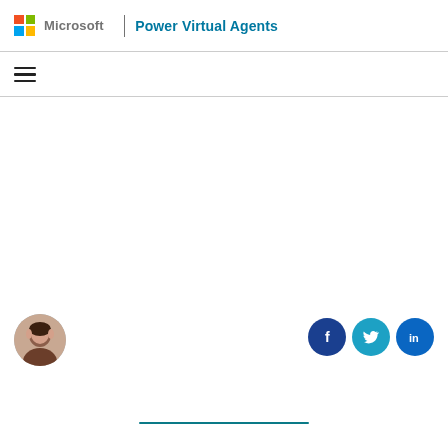Microsoft | Power Virtual Agents
[Figure (logo): Microsoft logo with colorful grid and 'Microsoft' text, divider, then 'Power Virtual Agents' text in teal]
[Figure (illustration): Hamburger menu icon (three horizontal lines)]
[Figure (photo): Circular avatar photo of a woman]
[Figure (illustration): Social media share buttons: Facebook (dark blue circle with f icon), Twitter (teal circle with bird icon), LinkedIn (blue circle with in icon)]